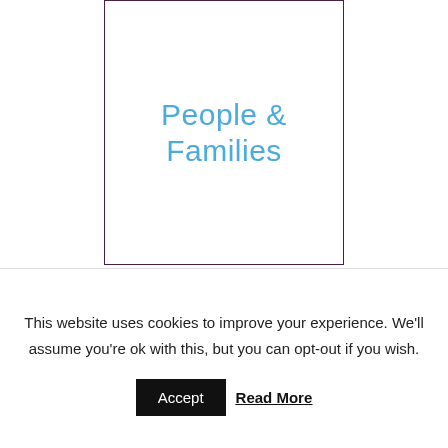[Figure (other): A bordered rectangle (dark purple/maroon border) containing the text 'People & Families' in light blue]
This website uses cookies to improve your experience. We'll assume you're ok with this, but you can opt-out if you wish.
Accept   Read More